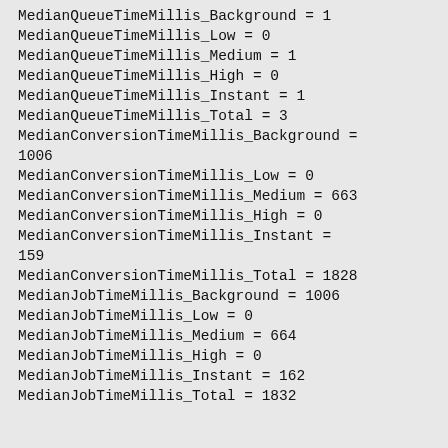MedianQueueTimeMillis_Background = 1
MedianQueueTimeMillis_Low = 0
MedianQueueTimeMillis_Medium = 1
MedianQueueTimeMillis_High = 0
MedianQueueTimeMillis_Instant = 1
MedianQueueTimeMillis_Total = 3
MedianConversionTimeMillis_Background = 1006
MedianConversionTimeMillis_Low = 0
MedianConversionTimeMillis_Medium = 663
MedianConversionTimeMillis_High = 0
MedianConversionTimeMillis_Instant = 159
MedianConversionTimeMillis_Total = 1828
MedianJobTimeMillis_Background = 1006
MedianJobTimeMillis_Low = 0
MedianJobTimeMillis_Medium = 664
MedianJobTimeMillis_High = 0
MedianJobTimeMillis_Instant = 162
MedianJobTimeMillis_Total = 1832